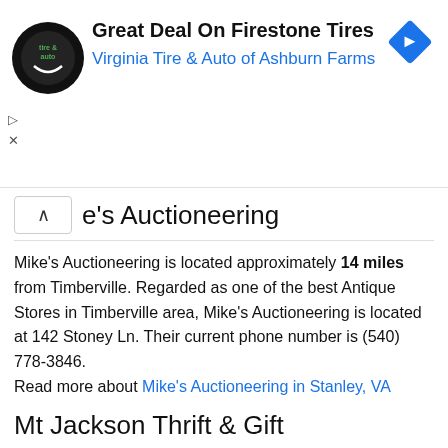[Figure (screenshot): Advertisement banner for Virginia Tire & Auto of Ashburn Farms with logo and navigation icon]
e's Auctioneering
Mike's Auctioneering is located approximately 14 miles from Timberville. Regarded as one of the best Antique Stores in Timberville area, Mike's Auctioneering is located at 142 Stoney Ln. Their current phone number is (540) 778-3846.
Read more about Mike's Auctioneering in Stanley, VA
Mt Jackson Thrift & Gift
Mt Jackson Thrift & Gift is located approximately 9 miles from Timberville. They are regarded as one of the best Antique Stores in Timberville area. Need to